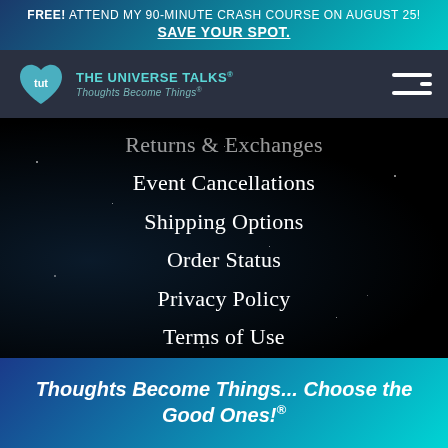FREE! ATTEND MY 90-MINUTE CRASH COURSE ON AUGUST 25! SAVE YOUR SPOT.
[Figure (logo): The Universe Talks logo — tut heart icon and text 'THE UNIVERSE TALKS® Thoughts Become Things®' with hamburger menu icon]
Returns & Exchanges
Event Cancellations
Shipping Options
Order Status
Privacy Policy
Terms of Use
Contact Us
Thoughts Become Things... Choose the Good Ones!®